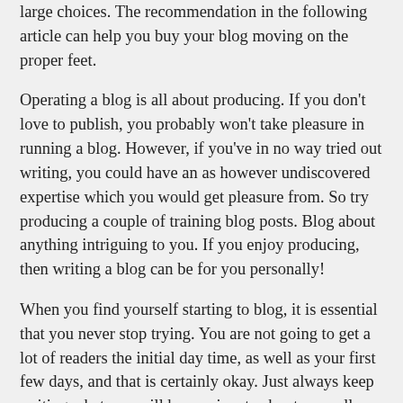large choices. The recommendation in the following article can help you buy your blog moving on the proper feet.
Operating a blog is all about producing. If you don't love to publish, you probably won't take pleasure in running a blog. However, if you've in no way tried out writing, you could have an as however undiscovered expertise which you would get pleasure from. So try producing a couple of training blog posts. Blog about anything intriguing to you. If you enjoy producing, then writing a blog can be for you personally!
When you find yourself starting to blog, it is essential that you never stop trying. You are not going to get a lot of readers the initial day time, as well as your first few days, and that is certainly okay. Just always keep writing what you will be passionate about, as well as the followers will come your way.
Try out composing for the readers. A blog is normally personal, but if you wish to grow an audience greater than a number of people, attempt creating for that visitors too. Consider considering the way the followers can usually benefit